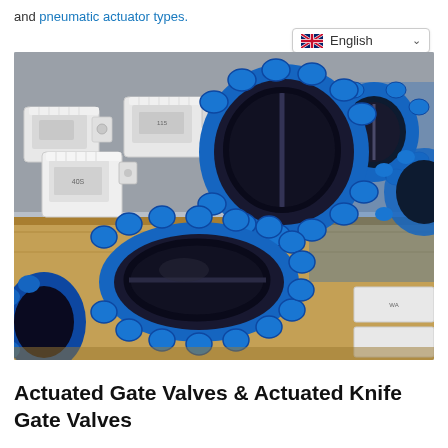and pneumatic actuator types.
[Figure (photo): Industrial photograph showing blue butterfly valves (lug-style) with black rubber seats stacked on a wooden pallet. White electric/pneumatic actuators are visible in the background on the left. Multiple blue valves are also visible on the right side. The scene appears to be a warehouse or manufacturing facility.]
Actuated Gate Valves & Actuated Knife Gate Valves